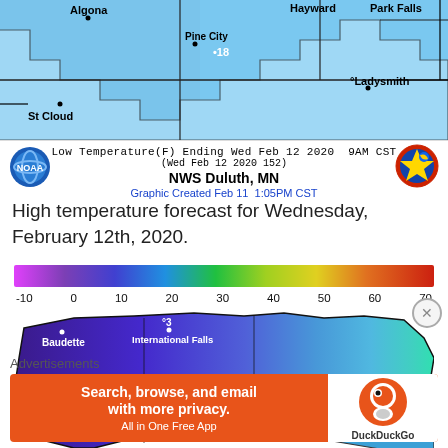[Figure (map): NWS low temperature forecast map showing Minnesota and Wisconsin region with blue/cyan color shading. Cities labeled: Algona, Pine City, St Cloud (bottom left area), Hayward, Park Falls, Ladysmith (right side). Temperature value 18 shown near Pine City area.]
Low Temperature(F) Ending Wed Feb 12 2020  9AM CST
(Wed Feb 12 2020 152)
NWS Duluth, MN
Graphic Created Feb 11  1:05PM CST
High temperature forecast for Wednesday, February 12th, 2020.
[Figure (map): NWS high temperature forecast color bar legend ranging from -10 (pink/magenta) through 0, 10 (purple), 20 (blue), 30 (green), 40, 50 (yellow-green), 60 (orange), 70 (red). Below is a color-shaded map of northern Minnesota showing temperature values: Baudette (top left), International Falls with value 3, Ely with value 16, Grand Marais with value 25, Virginia with value 15.]
Advertisements
[Figure (other): DuckDuckGo advertisement banner: 'Search, browse, and email with more privacy. All in One Free App' on orange background with DuckDuckGo logo on white right panel.]